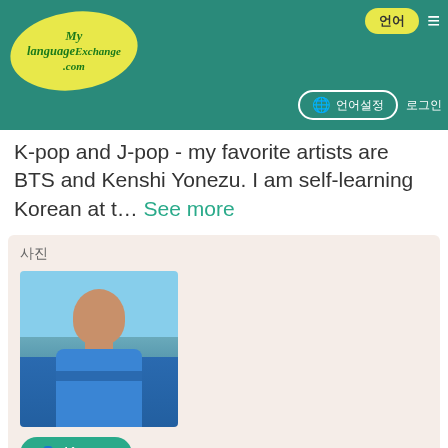[Figure (logo): MyLanguageExchange.com logo in yellow oval on teal header]
언어 (language selection button) ≡ (hamburger menu) 🌐 언어 설정 | 로그인
K-pop and J-pop - my favorite artists are BTS and Kenshi Yonezu. I am self-learning Korean at t... See more
사진
[Figure (photo): Profile photo of a man named Kumar wearing a blue shirt, standing near water]
👤 Kumar
♡ Add to Favorites
August 27, 2022
>위치(국) United States